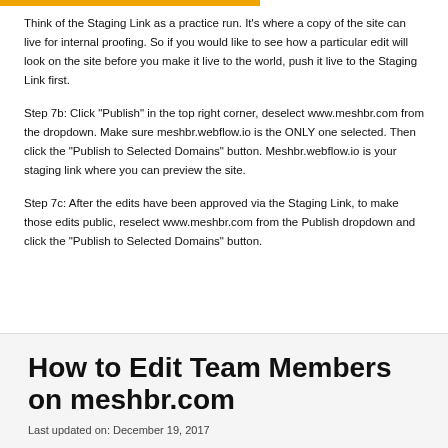Think of the Staging Link as a practice run. It's where a copy of the site can live for internal proofing. So if you would like to see how a particular edit will look on the site before you make it live to the world, push it live to the Staging Link first.
Step 7b: Click "Publish" in the top right corner, deselect www.meshbr.com from the dropdown. Make sure meshbr.webflow.io is the ONLY one selected. Then click the "Publish to Selected Domains" button. Meshbr.webflow.io is your staging link where you can preview the site.
Step 7c: After the edits have been approved via the Staging Link, to make those edits public, reselect www.meshbr.com from the Publish dropdown and click the "Publish to Selected Domains" button.
How to Edit Team Members on meshbr.com
Last updated on: December 19, 2017